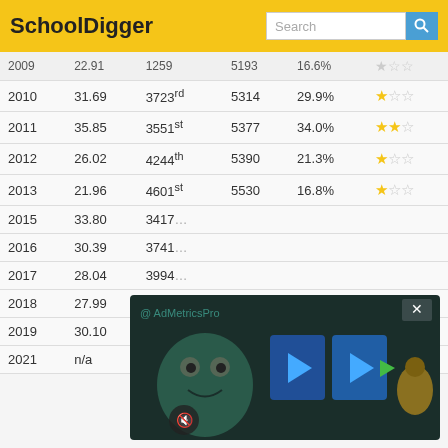SchoolDigger
| Year | Score | Rank | Total | Pct | Stars |
| --- | --- | --- | --- | --- | --- |
| 2009 | 22.91 | 1259 | 5193 | 16.6% | ★☆☆ |
| 2010 | 31.69 | 3723rd | 5314 | 29.9% | ★☆☆ |
| 2011 | 35.85 | 3551st | 5377 | 34.0% | ★★☆ |
| 2012 | 26.02 | 4244th | 5390 | 21.3% | ★☆☆ |
| 2013 | 21.96 | 4601st | 5530 | 16.8% | ★☆☆ |
| 2015 | 33.80 | 3417… |  |  |  |
| 2016 | 30.39 | 3741… |  |  |  |
| 2017 | 28.04 | 3994… |  |  |  |
| 2018 | 27.99 | 3995… |  |  |  |
| 2019 | 30.10 | 3927… |  |  |  |
| 2021 | n/a | n/a | n/a | n/a | n/a |
[Figure (screenshot): AdMetricsPro video advertisement overlay showing animated monster character with play controls, overlaid on the table content]